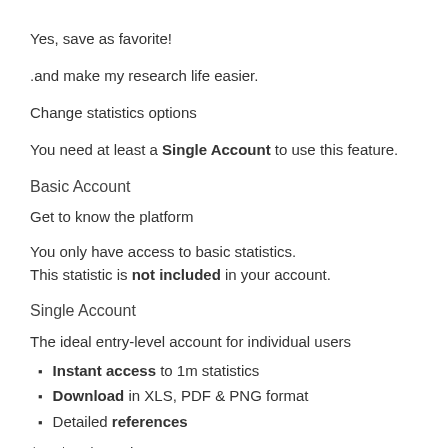Yes, save as favorite!
.and make my research life easier.
Change statistics options
You need at least a Single Account to use this feature.
Basic Account
Get to know the platform
You only have access to basic statistics.
This statistic is not included in your account.
Single Account
The ideal entry-level account for individual users
Instant access to 1m statistics
Download in XLS, PDF & PNG format
Detailed references
$59 $39 / Month *